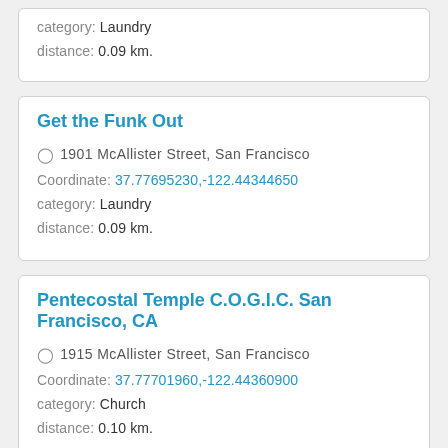category: Laundry
distance: 0.09 km.
Get the Funk Out
1901 McAllister Street, San Francisco
Coordinate: 37.77695230,-122.44344650
category: Laundry
distance: 0.09 km.
Pentecostal Temple C.O.G.I.C. San Francisco, CA
1915 McAllister Street, San Francisco
Coordinate: 37.77701960,-122.44360900
category: Church
distance: 0.10 km.